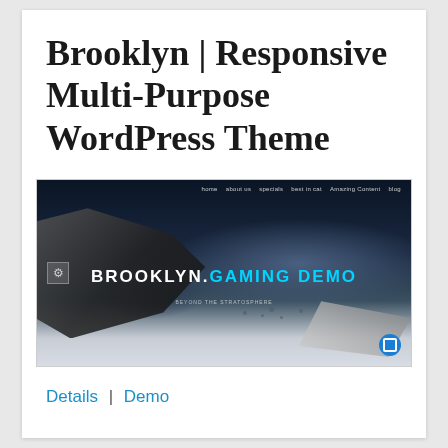Brooklyn | Responsive Multi-Purpose WordPress Theme
[Figure (screenshot): Screenshot of the Brooklyn WordPress theme gaming demo page, showing a sci-fi space scene with spaceships and the text 'BROOKLYN GAMING DEMO' in the center.]
Details  |  Demo